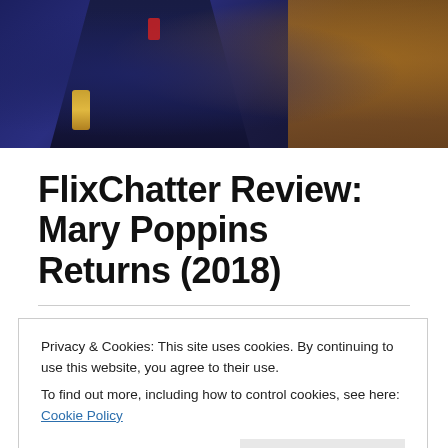[Figure (photo): Dark scene from Mary Poppins Returns film showing figures in dark navy suits with red and gold accents against an ornate gold background]
FlixChatter Review: Mary Poppins Returns (2018)
ON JANUARY 8, 2019 / BY RUTH
Privacy & Cookies: This site uses cookies. By continuing to use this website, you agree to their use.
To find out more, including how to control cookies, see here: Cookie Policy
Close and accept